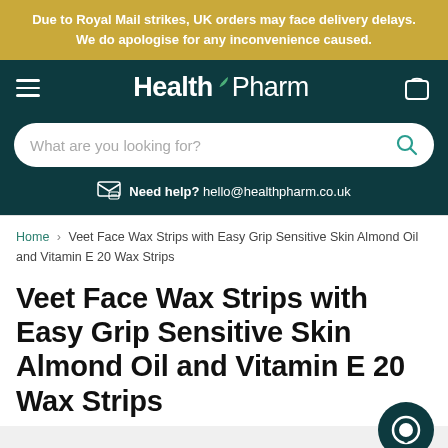Due to Royal Mail strikes, UK orders may face delivery delays. We do apologise for any inconvenience caused.
[Figure (logo): HealthPharm logo with hamburger menu and cart icon on dark teal navigation bar]
What are you looking for?
Need help? hello@healthpharm.co.uk
Home › Veet Face Wax Strips with Easy Grip Sensitive Skin Almond Oil and Vitamin E 20 Wax Strips
Veet Face Wax Strips with Easy Grip Sensitive Skin Almond Oil and Vitamin E 20 Wax Strips